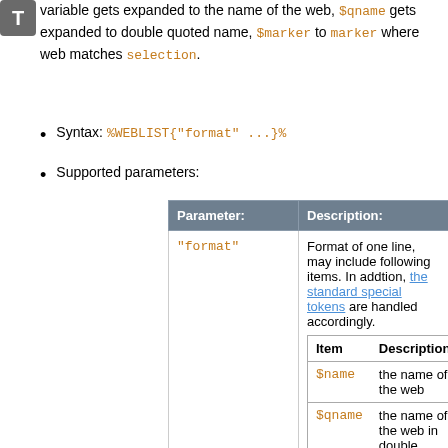variable gets expanded to the name of the web, $qname gets expanded to double quoted name, $marker to marker where web matches selection.
Syntax: %WEBLIST{"format" ...}%
Supported parameters:
| Parameter: | Description: | Default |
| --- | --- | --- |
| "format" | Format of one line, may include following items. In addtion, the standard special tokens are handled accordingly. [inner table with Item/Description columns: $name=the name of the web, $qname=the name of the web in double quotes, [third row partial]] | "$name |